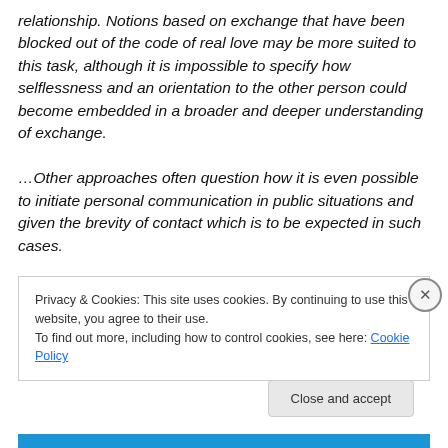relationship. Notions based on exchange that have been blocked out of the code of real love may be more suited to this task, although it is impossible to specify how selflessness and an orientation to the other person could become embedded in a broader and deeper understanding of exchange.

…Other approaches often question how it is even possible to initiate personal communication in public situations and given the brevity of contact which is to be expected in such cases.
Privacy & Cookies: This site uses cookies. By continuing to use this website, you agree to their use.
To find out more, including how to control cookies, see here: Cookie Policy
Close and accept